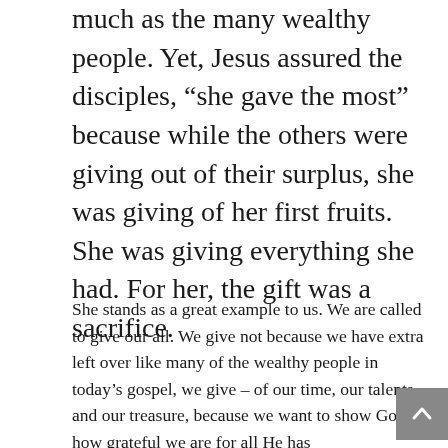much as the many wealthy people. Yet, Jesus assured the disciples, “she gave the most” because while the others were giving out of their surplus, she was giving of her first fruits. She was giving everything she had. For her, the gift was a sacrifice.
She stands as a great example to us. We are called to give our all. We give not because we have extra left over like many of the wealthy people in today’s gospel, we give – of our time, our talents, and our treasure, because we want to show God how grateful we are for all He has